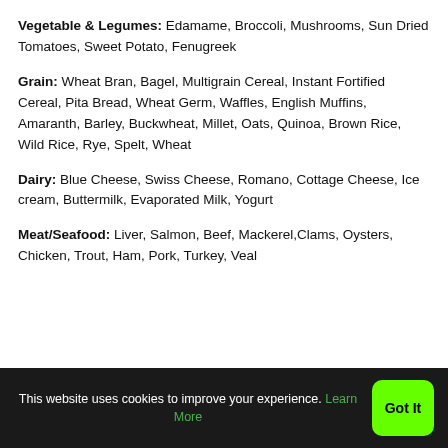Vegetable & Legumes: Edamame, Broccoli, Mushrooms, Sun Dried Tomatoes, Sweet Potato, Fenugreek
Grain: Wheat Bran, Bagel, Multigrain Cereal, Instant Fortified Cereal, Pita Bread, Wheat Germ, Waffles, English Muffins, Amaranth, Barley, Buckwheat, Millet, Oats, Quinoa, Brown Rice, Wild Rice, Rye, Spelt, Wheat
Dairy: Blue Cheese, Swiss Cheese, Romano, Cottage Cheese, Ice cream, Buttermilk, Evaporated Milk, Yogurt
Meat/Seafood: Liver, Salmon, Beef, Mackerel,Clams, Oysters, Chicken, Trout, Ham, Pork, Turkey, Veal
This website uses cookies to improve your experience. Learn More